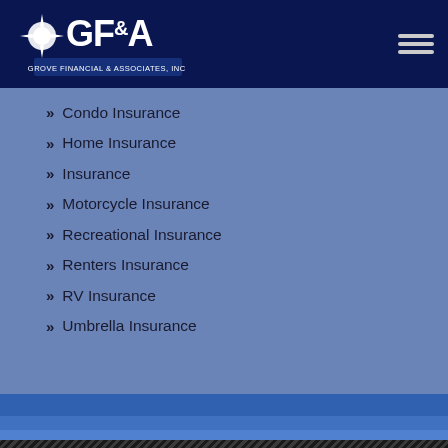[Figure (logo): GF&A Grove Financial & Associates, Inc. logo on dark navy background with hamburger menu icon]
Condo Insurance
Home Insurance
Insurance
Motorcycle Insurance
Recreational Insurance
Renters Insurance
RV Insurance
Umbrella Insurance